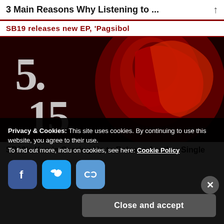3 Main Reasons Why Listening to ...
SB19 releases new EP, 'Pagsibol'
[Figure (photo): Dark red-toned artistic photo of a person with vibrant red hair, with large gothic/decorative numerals '5' and '15' or '52' on the left side, on a dark crimson background.]
SB19's Ken is Gearing Up to Release Another Single
Privacy & Cookies: This site uses cookies. By continuing to use this website, you agree to their use.
To find out more, including how to control cookies, see here: Cookie Policy
Close and accept